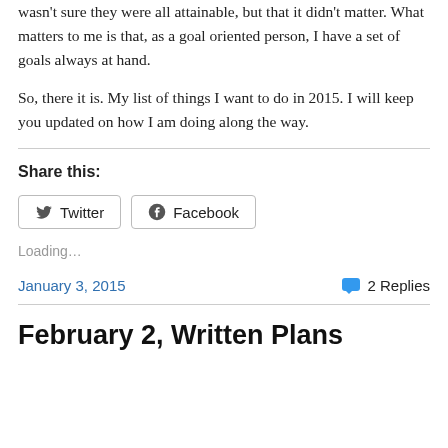wasn't sure they were all attainable, but that it didn't matter. What matters to me is that, as a goal oriented person, I have a set of goals always at hand.
So, there it is. My list of things I want to do in 2015. I will keep you updated on how I am doing along the way.
Share this:
Loading...
January 3, 2015    2 Replies
February 2, Written Plans